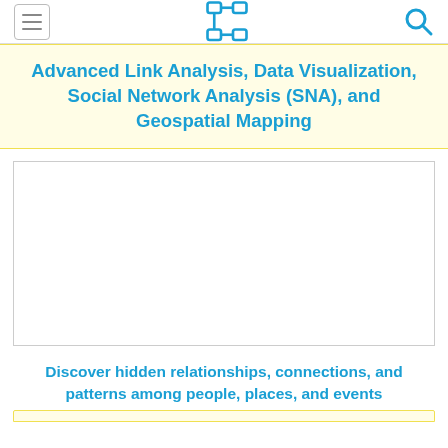Navigation bar with hamburger menu, network diagram icon, and search icon
Advanced Link Analysis, Data Visualization, Social Network Analysis (SNA), and Geospatial Mapping
[Figure (other): White rectangular image placeholder with a thin gray border]
Discover hidden relationships, connections, and patterns among people, places, and events